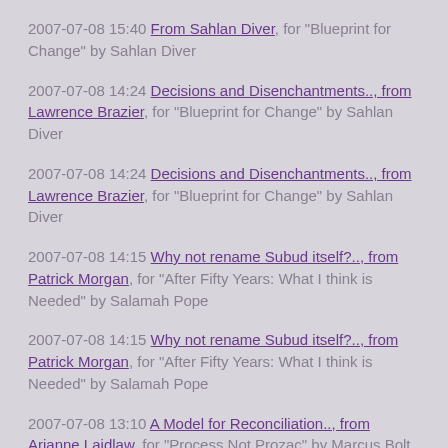2007-07-08 15:40 From Sahlan Diver, for "Blueprint for Change" by Sahlan Diver
2007-07-08 14:24 Decisions and Disenchantments.., from Lawrence Brazier, for "Blueprint for Change" by Sahlan Diver
2007-07-08 14:24 Decisions and Disenchantments.., from Lawrence Brazier, for "Blueprint for Change" by Sahlan Diver
2007-07-08 14:15 Why not rename Subud itself?.., from Patrick Morgan, for "After Fifty Years: What I think is Needed" by Salamah Pope
2007-07-08 14:15 Why not rename Subud itself?.., from Patrick Morgan, for "After Fifty Years: What I think is Needed" by Salamah Pope
2007-07-08 13:10 A Model for Reconciliation.., from Arianne Laidlaw, for "Process Not Prozac" by Marcus Bolt